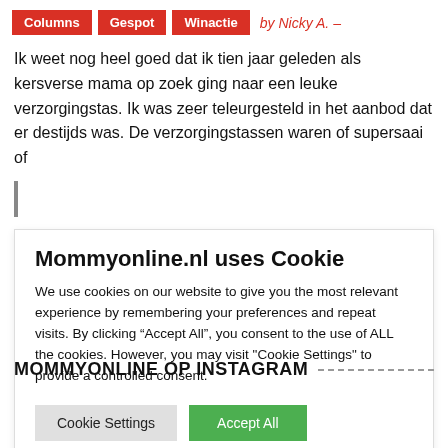Columns | Gespot | Winactie | by Nicky A. -
Ik weet nog heel goed dat ik tien jaar geleden als kersverse mama op zoek ging naar een leuke verzorgingstas. Ik was zeer teleurgesteld in het aanbod dat er destijds was. De verzorgingstassen waren of supersaai of
[Figure (screenshot): Cookie consent dialog overlay on Mommyonline.nl website with title 'Mommyonline.nl uses Cookie', descriptive text about cookies, and two buttons: 'Cookie Settings' and 'Accept All']
MOMMYONLINE OP INSTAGRAM